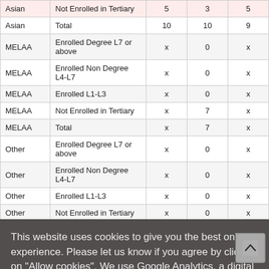| Group | Category | Col1 | Col2 | Col3 |
| --- | --- | --- | --- | --- |
| Asian | Not Enrolled in Tertiary | 5 | 3 | 5 |
| Asian | Total | 10 | 10 | 9 |
| MELAA | Enrolled Degree L7 or above | x | 0 | x |
| MELAA | Enrolled Non Degree L4-L7 | x | 0 | x |
| MELAA | Enrolled L1-L3 | x | 0 | x |
| MELAA | Not Enrolled in Tertiary | x | 7 | x |
| MELAA | Total | x | 7 | x |
| Other | Enrolled Degree L7 or above | x | 0 | x |
| Other | Enrolled Non Degree L4-L7 | x | 0 | x |
| Other | Enrolled L1-L3 | x | 0 | x |
| Other | Not Enrolled in Tertiary | x | 0 | x |
This website uses cookies to give you the best online experience. Please let us know if you agree by clicking on "Allow cookies". We use Google Analytics, a digital analytics software, when you visit our site, even if you decline cookies. You will need to deactivate this cookie using your browser. About cookies